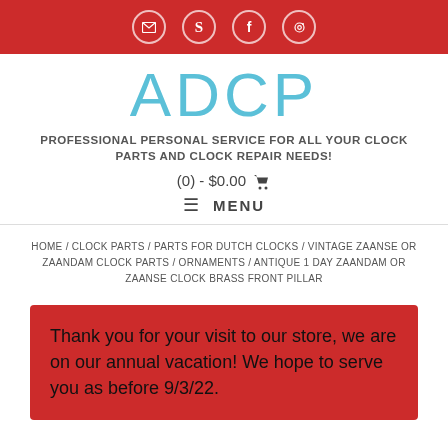✉ S f ⊕
ADCP
PROFESSIONAL PERSONAL SERVICE FOR ALL YOUR CLOCK PARTS AND CLOCK REPAIR NEEDS!
(0) - $0.00 🛒
≡ MENU
HOME / CLOCK PARTS / PARTS FOR DUTCH CLOCKS / VINTAGE ZAANSE OR ZAANDAM CLOCK PARTS / ORNAMENTS / ANTIQUE 1 DAY ZAANDAM OR ZAANSE CLOCK BRASS FRONT PILLAR
Thank you for your visit to our store, we are on our annual vacation! We hope to serve you as before 9/3/22.